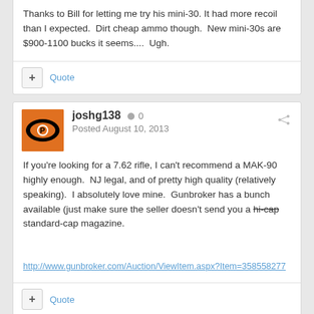Thanks to Bill for letting me try his mini-30. It had more recoil than I expected. Dirt cheap ammo though. New mini-30s are $900-1100 bucks it seems.... Ugh.
joshg138 ● 0
Posted August 10, 2013
If you're looking for a 7.62 rifle, I can't recommend a MAK-90 highly enough. NJ legal, and of pretty high quality (relatively speaking). I absolutely love mine. Gunbroker has a bunch available (just make sure the seller doesn't send you a hi-cap standard-cap magazine.
http://www.gunbroker.com/Auction/ViewItem.aspx?Item=358558277
My1stGlock ● 119